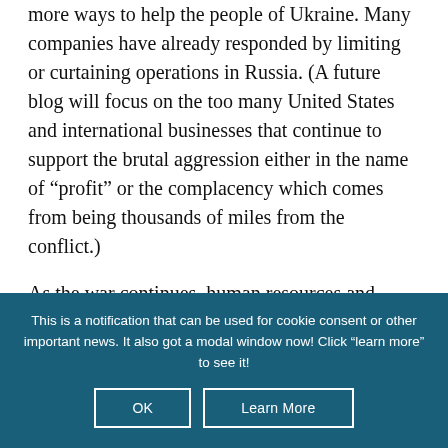more ways to help the people of Ukraine. Many companies have already responded by limiting or curtaining operations in Russia. (A future blog will focus on the too many United States and international businesses that continue to support the brutal aggression either in the name of “profit” or the complacency which comes from being thousands of miles from the conflict.)

As the war continues, human resources and corporate leaders will be called on to do more to support their employees and families. A recent
This is a notification that can be used for cookie consent or other important news. It also got a modal window now! Click "learn more" to see it!
OK
Learn More